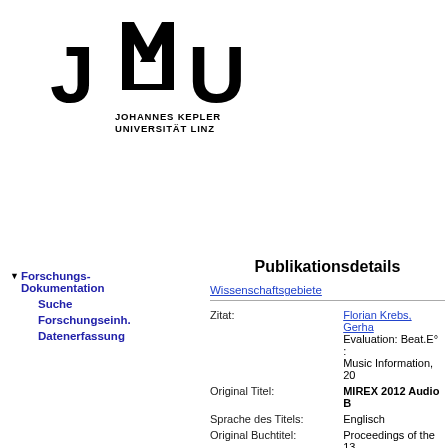[Figure (logo): JKU Johannes Kepler Universität Linz logo with stylized JKU letters and university name]
▼ Forschungs-Dokumentation
Suche
Forschungseinh.
Datenerfassung
Publikationsdetails
Wissenschaftsgebiete
| Zitat: | Florian Krebs, Gerha... Evaluation: Beat.E° : Music Information, 20... |
| Original Titel: | MIREX 2012 Audio B... |
| Sprache des Titels: | Englisch |
| Original Buchtitel: | Proceedings of the 13... |
| Original Kurzfassung: | In this paper, we pres... tracking system that s... meter and rhythmic p... proposed by Whiteley... new observation mod... which makes the mo... music. The MIREX be... and three datasets - p... algorithms thirteen ti... |
| Sprache der Kurzfassung: | Englisch |
| Erscheinungsjahr: | 2012 |
| Anzahl der Seiten: | 5 |
| Reichweite: | international |